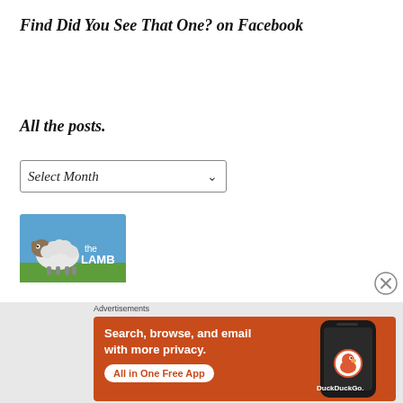Find Did You See That One? on Facebook
All the posts.
Select Month
[Figure (logo): The LAMB logo — cartoon sheep on green grass with blue sky, text 'the LAMB']
[Figure (other): Close/dismiss button circle with X]
Advertisements
[Figure (screenshot): DuckDuckGo advertisement banner on orange background. Text: 'Search, browse, and email with more privacy. All in One Free App' with a phone showing DuckDuckGo app.]